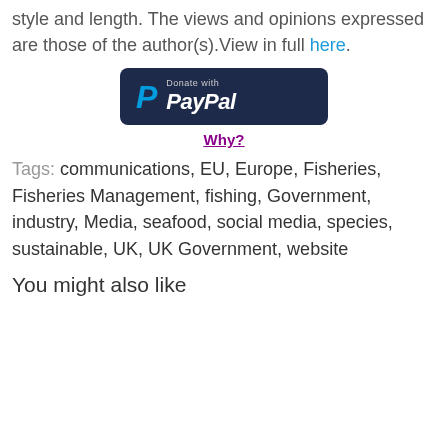style and length. The views and opinions expressed are those of the author(s).View in full here.
[Figure (other): PayPal Donate button — dark navy rounded rectangle with PayPal logo and text]
Why?
Tags: communications, EU, Europe, Fisheries, Fisheries Management, fishing, Government, industry, Media, seafood, social media, species, sustainable, UK, UK Government, website
You might also like